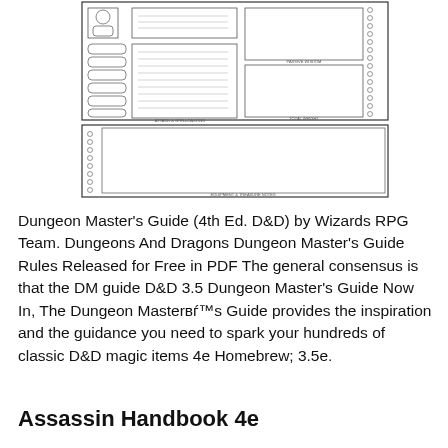[Figure (illustration): A D&D character sheet / form template shown as a small illustration. It depicts a multi-section form with boxes for stats, skills, equipment, and other RPG fields, rendered in black and white line art.]
Dungeon Master's Guide (4th Ed. D&D) by Wizards RPG Team. Dungeons And Dragons Dungeon Master's Guide Rules Released for Free in PDF The general consensus is that the DM guide D&D 3.5 Dungeon Master's Guide Now In, The Dungeon Masterвѓ™s Guide provides the inspiration and the guidance you need to spark your hundreds of classic D&D magic items 4e Homebrew; 3.5e.
Assassin Handbook 4e